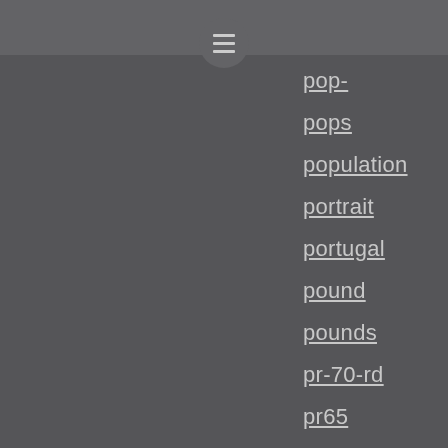[Figure (screenshot): Hamburger menu icon button on dark grey circular background]
pop-
pops
population
portrait
portugal
pound
pounds
pr-70-rd
pr65
pr67dcam
pre-1933
proof
pulled
qatar
queen